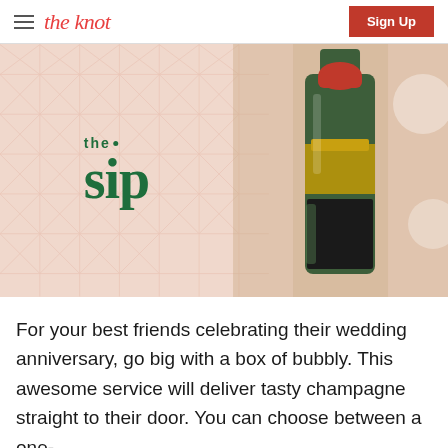the knot | Sign Up
[Figure (photo): Photo of 'the sip' branded box/card with geometric pattern background in light pink, next to a Moët & Chandon champagne bottle with red foil cap]
For your best friends celebrating their wedding anniversary, go big with a box of bubbly. This awesome service will deliver tasty champagne straight to their door. You can choose between a one-